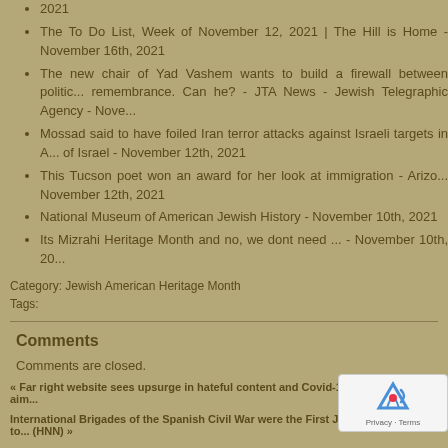2021
The To Do List, Week of November 12, 2021 | The Hill is Home - November 16th, 2021
The new chair of Yad Vashem wants to build a firewall between politics and remembrance. Can he? - JTA News - Jewish Telegraphic Agency - November...
Mossad said to have foiled Iran terror attacks against Israeli targets in A... of Israel - November 12th, 2021
This Tucson poet won an award for her look at immigration - Arizo... November 12th, 2021
National Museum of American Jewish History - November 10th, 2021
Its Mizrahi Heritage Month and no, we dont need ... - November 10th, 20...
Category: Jewish American Heritage Month
Tags:
Comments
Comments are closed.
« Far right website sees upsurge in hateful content and Covid-19 disinformation aim...
International Brigades of the Spanish Civil War were the First Jewish Resistance to... (HNN) »